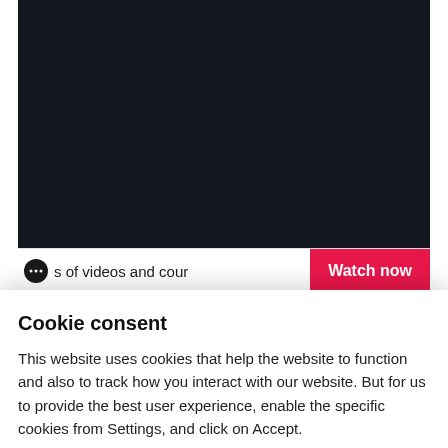[Figure (screenshot): Dark video player area with black/dark navy background]
[Figure (screenshot): Video player control bar showing a chat bubble icon, partial text 's of videos and cour', and a red 'Watch now' button]
Cookie consent
This website uses cookies that help the website to function and also to track how you interact with our website. But for us to provide the best user experience, enable the specific cookies from Settings, and click on Accept.
Preferences
Accept All